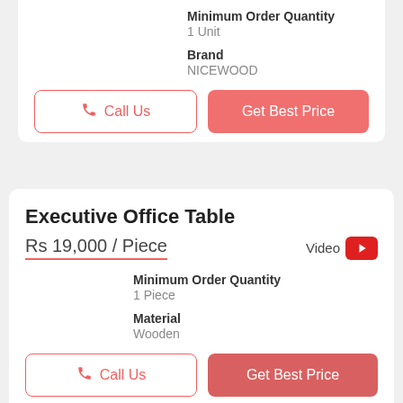Minimum Order Quantity
1 Unit
Brand
NICEWOOD
Call Us
Get Best Price
Executive Office Table
Rs 19,000 / Piece
Video
Minimum Order Quantity
1 Piece
Material
Wooden
Call Us
Get Best Price